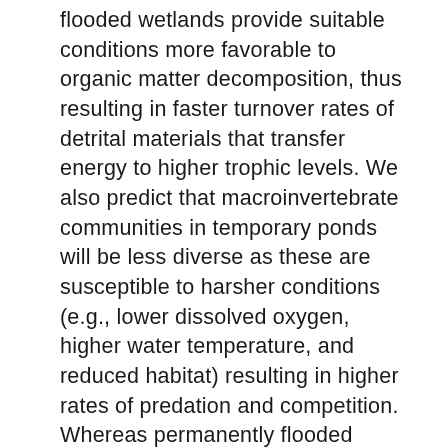flooded wetlands provide suitable conditions more favorable to organic matter decomposition, thus resulting in faster turnover rates of detrital materials that transfer energy to higher trophic levels. We also predict that macroinvertebrate communities in temporary ponds will be less diverse as these are susceptible to harsher conditions (e.g., lower dissolved oxygen, higher water temperature, and reduced habitat) resulting in higher rates of predation and competition. Whereas permanently flooded wetlands will provide stable conditions and increased habitat leading to higher macroinvertebrate diversity. Lastly, we predict that these differences in consumer diversity will result in faster decomposition rates at permanently versus temporarily flooded wetlands.